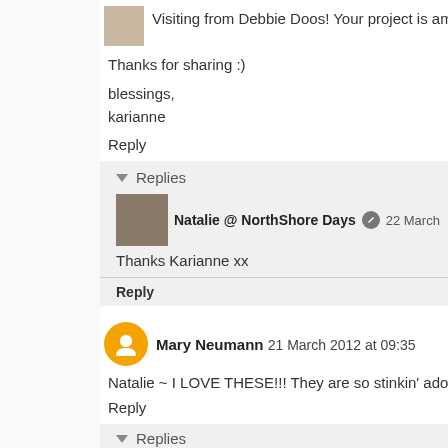Visiting from Debbie Doos! Your project is amazingly creative! I l...
Thanks for sharing :)
blessings,
karianne
Reply
Replies
Natalie @ NorthShore Days  22 March 2012 at 23...
Thanks Karianne xx
Reply
Mary Neumann  21 March 2012 at 09:35
Natalie ~ I LOVE THESE!!! They are so stinkin' adorable!!! I nee...
Reply
Replies
Natalie @ NorthShore Days  22 March 2012 at 23...